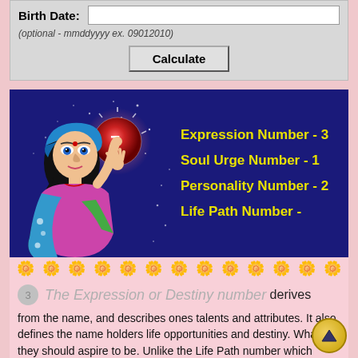Birth Date:
(optional - mmddyyyy ex. 09012010)
Calculate
[Figure (illustration): Numerology calculator banner with a cartoon gypsy woman holding a glowing orb with the number 7, on a dark blue starry background, with yellow text showing Expression Number - 3, Soul Urge Number - 1, Personality Number - 2, Life Path Number -]
Expression Number - 3
Soul Urge Number - 1
Personality Number - 2
Life Path Number -
The Expression or Destiny number derives from the name, and describes ones talents and attributes. It also defines the name holders life opportunities and destiny. What they should aspire to be. Unlike the Life Path number which reads as you ARE, the Expression number more correctly reads as you MUST.